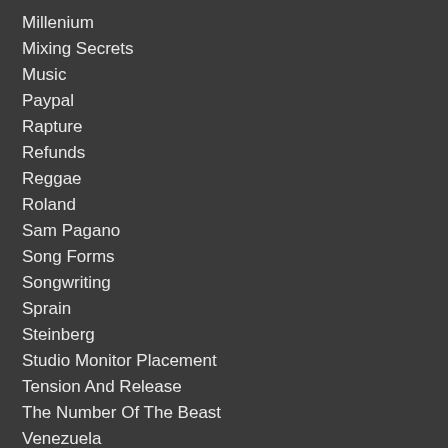Millenium
Mixing Secrets
Music
Paypal
Rapture
Refunds
Reggae
Roland
Sam Pagano
Song Forms
Songwriting
Sprain
Steinberg
Studio Monitor Placement
Tension And Release
The Number Of The Beast
Venezuela
Vst
War
Watchman Nee